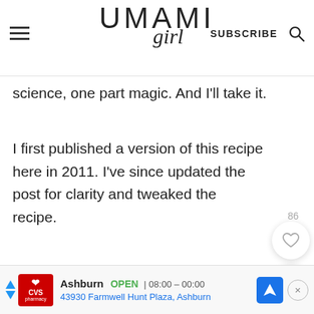UMAMI girl | SUBSCRIBE
science, one part magic. And I'll take it.
I first published a version of this recipe here in 2011. I've since updated the post for clarity and tweaked the recipe.
86
[Figure (screenshot): CVS Pharmacy ad banner: Ashburn OPEN 08:00 – 00:00, 43930 Farmwell Hunt Plaza, Ashburn]